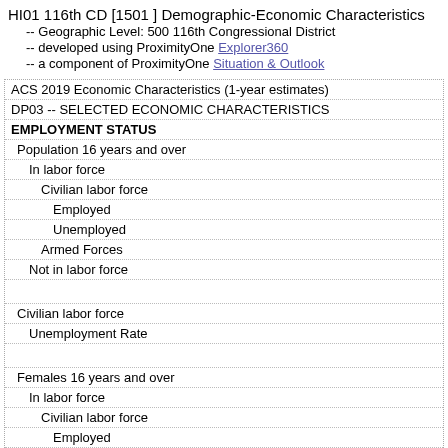HI01 116th CD [1501 ] Demographic-Economic Characteristics
-- Geographic Level: 500 116th Congressional District
-- developed using ProximityOne Explorer360
-- a component of ProximityOne Situation & Outlook
| ACS 2019 Economic Characteristics (1-year estimates) |
| DP03 -- SELECTED ECONOMIC CHARACTERISTICS |
| EMPLOYMENT STATUS |
| Population 16 years and over |
| In labor force |
| Civilian labor force |
| Employed |
| Unemployed |
| Armed Forces |
| Not in labor force |
|  |
| Civilian labor force |
| Unemployment Rate |
|  |
| Females 16 years and over |
| In labor force |
| Civilian labor force |
| Employed |
|  |
| Own children of the householder under 6 years |
| All parents in family in labor force |
|  |
| Own children of the householder 6 to 17 years |
| All parents in family in labor force |
|  |
| COMMUTING TO WORK |
| Workers 16 years and over |